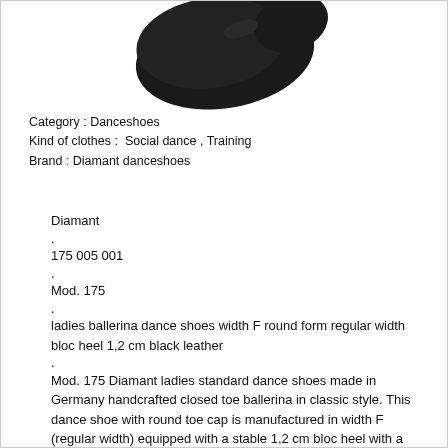[Figure (photo): Dark black ballerina dance shoe viewed from above/side angle on white background]
Category : Danceshoes
Kind of clothes :  Social dance , Training
Brand : Diamant danceshoes
Diamant
.
175 005 001
.
Mod. 175
.
ladies ballerina dance shoes width F round form regular width bloc heel 1,2 cm black leather
.
Mod. 175 Diamant ladies standard dance shoes made in Germany handcrafted closed toe ballerina in classic style. This dance shoe with round toe cap is manufactured in width F (regular width) equipped with a stable 1,2 cm bloc heel with a very large heel area.
As interior lining a breathable, antibacterial and moisture-absorbent microfiber from an Italian premium producer is used.
For the upper material made out of black suede a soft suede leather from Italy is used.